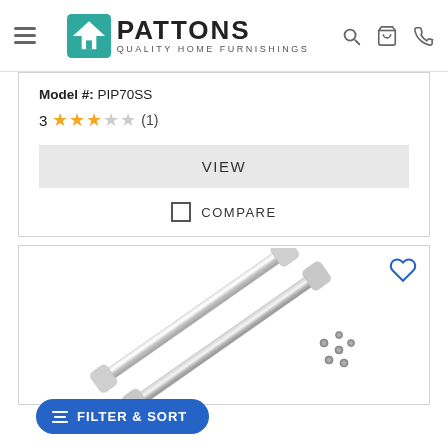Pattons Quality Home Furnishings
Model #: PIP70SS
3 ★★★☆☆ (1)
VIEW
COMPARE
[Figure (photo): Two chrome cabinet bar handles with screws on white background]
FILTER & SORT